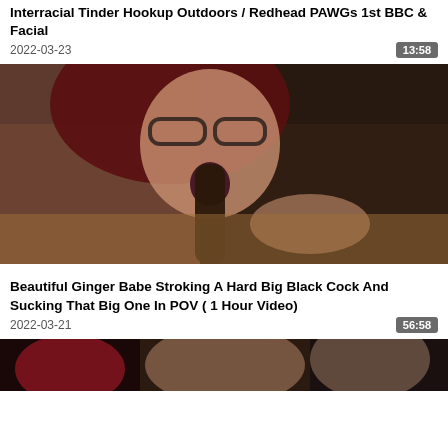Interracial Tinder Hookup Outdoors / Redhead PAWGs 1st BBC & Facial
2022-03-23    13:58
[Figure (photo): Video thumbnail showing explicit adult content]
Beautiful Ginger Babe Stroking A Hard Big Black Cock And Sucking That Big One In POV ( 1 Hour Video)
2022-03-21    56:58
[Figure (photo): Partial video thumbnail at bottom of page]